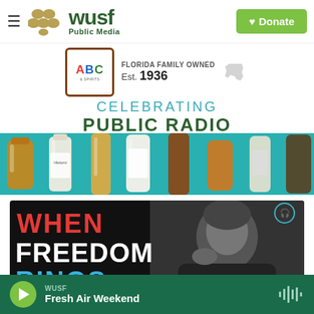WUSF Public Media — Donate
[Figure (logo): WUSF Public Media logo with golden dots and green text]
[Figure (logo): ABC Fine Wine & Spirits logo — Florida Family Owned Est. 1936]
CELEBRATING PUBLIC RADIO
[Figure (photo): Bottles of wine and spirits on teal background]
[Figure (photo): When Freedom Rings podcast promotional image — black and white portrait with bold red and white title text]
WUSF — Fresh Air Weekend